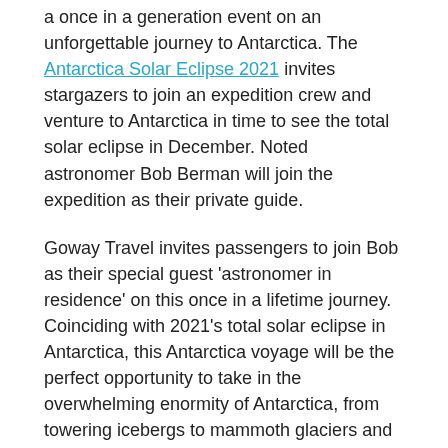a once in a generation event on an unforgettable journey to Antarctica. The Antarctica Solar Eclipse 2021 invites stargazers to join an expedition crew and venture to Antarctica in time to see the total solar eclipse in December. Noted astronomer Bob Berman will join the expedition as their private guide.
Goway Travel invites passengers to join Bob as their special guest 'astronomer in residence' on this once in a lifetime journey. Coinciding with 2021's total solar eclipse in Antarctica, this Antarctica voyage will be the perfect opportunity to take in the overwhelming enormity of Antarctica, from towering icebergs to mammoth glaciers and ice-covered mountains.
[Figure (photo): Broken/unloaded image placeholder]
Bob Berman is one of the best-known and most widely-